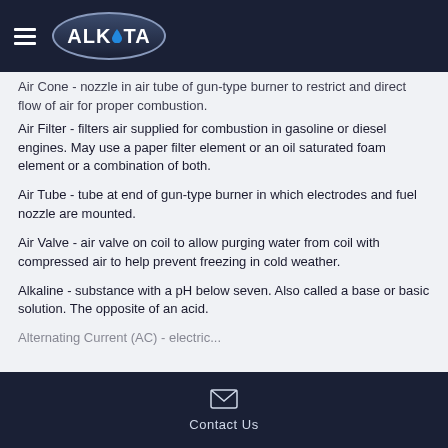ALKOTA - Cleaning Systems, Inc. navigation header
Air Cone - nozzle in air tube of gun-type burner to restrict and direct flow of air for proper combustion.
Air Filter - filters air supplied for combustion in gasoline or diesel engines. May use a paper filter element or an oil saturated foam element or a combination of both.
Air Tube - tube at end of gun-type burner in which electrodes and fuel nozzle are mounted.
Air Valve - air valve on coil to allow purging water from coil with compressed air to help prevent freezing in cold weather.
Alkaline - substance with a pH below seven. Also called a base or basic solution. The opposite of an acid.
Alternating Current (AC) - electric...
Contact Us